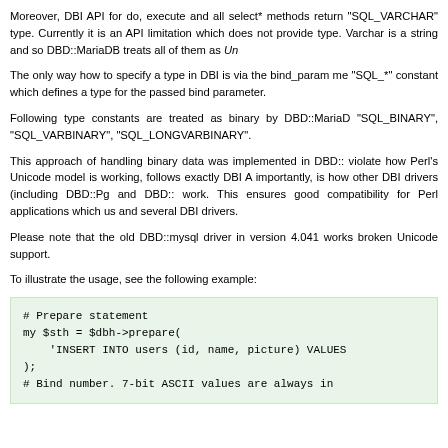Moreover, DBI API for do, execute and all select* methods return "SQL_VARCHAR" type. Currently it is an API limitation which does not provide type. Varchar is a string and so DBD::MariaDB treats all of them as Unico...
The only way how to specify a type in DBI is via the bind_param method with a "SQL_*" constant which defines a type for the passed bind parameter.
Following type constants are treated as binary by DBD::MariaDB: "SQL_BINARY", "SQL_VARBINARY", "SQL_LONGVARBINARY".
This approach of handling binary data was implemented in DBD::M... does not violate how Perl's Unicode model is working, follows exactly DBI API and, most importantly, is how other DBI drivers (including DBD::Pg and DBD::S...) work. This ensures good compatibility for Perl applications which use DBI and several DBI drivers.
Please note that the old DBD::mysql driver in version 4.041 works differently with broken Unicode support.
To illustrate the usage, see the following example:
# Prepare statement
my $sth = $dbh->prepare(
    'INSERT INTO users (id, name, picture) VALUES
);
# Bind number. 7-bit ASCII values are always in